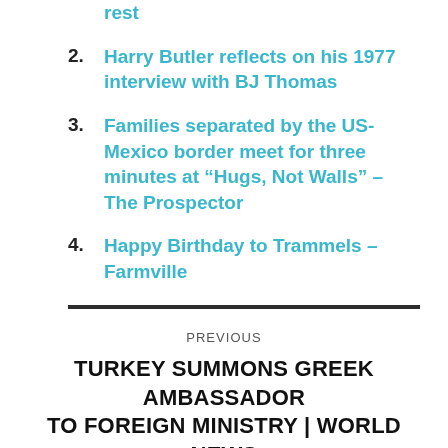rest
2. Harry Butler reflects on his 1977 interview with BJ Thomas
3. Families separated by the US-Mexico border meet for three minutes at “Hugs, Not Walls” – The Prospector
4. Happy Birthday to Trammels – Farmville
PREVIOUS
TURKEY SUMMONS GREEK AMBASSADOR TO FOREIGN MINISTRY | WORLD NEWS